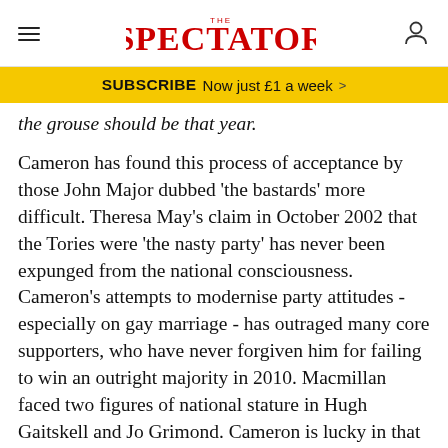THE SPECTATOR
SUBSCRIBE Now just £1 a week >
the grouse should be that year.
Cameron has found this process of acceptance by those John Major dubbed 'the bastards' more difficult. Theresa May's claim in October 2002 that the Tories were 'the nasty party' has never been expunged from the national consciousness. Cameron's attempts to modernise party attitudes - especially on gay marriage - has outraged many core supporters, who have never forgiven him for failing to win an outright majority in 2010. Macmillan faced two figures of national stature in Hugh Gaitskell and Jo Grimond. Cameron is lucky in that he only faces Miliband and Clegg...